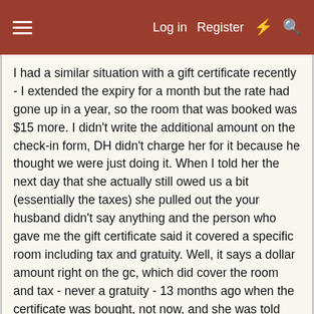☰   Log in   Register   ⚡   🔍
I had a similar situation with a gift certificate recently - I extended the expiry for a month but the rate had gone up in a year, so the room that was booked was $15 more. I didn't write the additional amount on the check-in form, DH didn't charge her for it because he thought we were just doing it. When I told her the next day that she actually still owed us a bit (essentially the taxes) she pulled out the your husband didn't say anything and the person who gave me the gift certificate said it covered a specific room including tax and gratuity. Well, it says a dollar amount right on the gc, which did cover the room and tax - never a gratuity - 13 months ago when the certificate was bought, not now, and she was told this when she made the reservation. I let it go, in the interest of customer relations and gettting the gc off my books, but I was inordinately po'd at this guest. It's good that everything happened on their way out; otherwise I would have stewed all night. In the grand